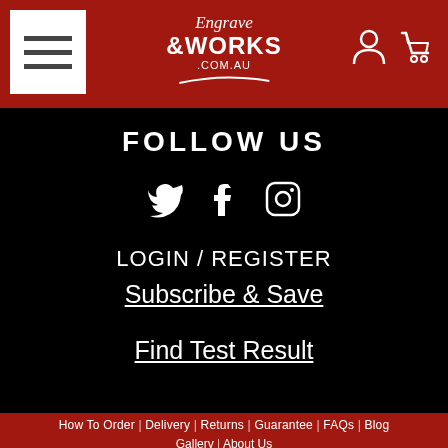Engrave & Works .com.au
FOLLOW US
[Figure (illustration): Social media icons: Twitter bird, Facebook f, Instagram camera outline]
LOGIN / REGISTER
Subscribe & Save
Find Test Result
How To Order | Delivery | Returns | Guarantee | FAQs | Blog
Gallery | About Us
[Figure (illustration): Payment method badges: Apple Pay, Google Pay, Mastercard, Shop Pay, Visa]
© 2022, Engrave Works